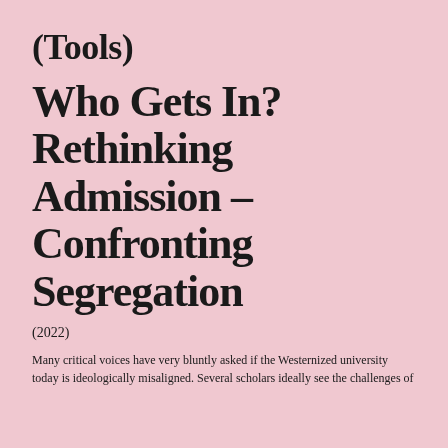(Tools)
Who Gets In? Rethinking Admission – Confronting Segregation
(2022)
Many critical voices have very bluntly asked if the Westernized university today is ideologically misaligned. Several scholars ideally see the challenges of